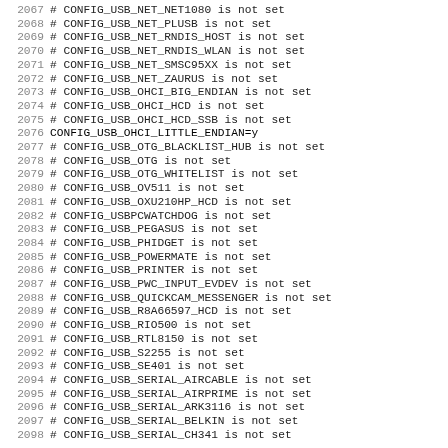2067 # CONFIG_USB_NET_NET1080 is not set
2068 # CONFIG_USB_NET_PLUSB is not set
2069 # CONFIG_USB_NET_RNDIS_HOST is not set
2070 # CONFIG_USB_NET_RNDIS_WLAN is not set
2071 # CONFIG_USB_NET_SMSC95XX is not set
2072 # CONFIG_USB_NET_ZAURUS is not set
2073 # CONFIG_USB_OHCI_BIG_ENDIAN is not set
2074 # CONFIG_USB_OHCI_HCD is not set
2075 # CONFIG_USB_OHCI_HCD_SSB is not set
2076 CONFIG_USB_OHCI_LITTLE_ENDIAN=y
2077 # CONFIG_USB_OTG_BLACKLIST_HUB is not set
2078 # CONFIG_USB_OTG is not set
2079 # CONFIG_USB_OTG_WHITELIST is not set
2080 # CONFIG_USB_OV511 is not set
2081 # CONFIG_USB_OXU210HP_HCD is not set
2082 # CONFIG_USBPCWATCHDOG is not set
2083 # CONFIG_USB_PEGASUS is not set
2084 # CONFIG_USB_PHIDGET is not set
2085 # CONFIG_USB_POWERMATE is not set
2086 # CONFIG_USB_PRINTER is not set
2087 # CONFIG_USB_PWC_INPUT_EVDEV is not set
2088 # CONFIG_USB_QUICKCAM_MESSENGER is not set
2089 # CONFIG_USB_R8A66597_HCD is not set
2090 # CONFIG_USB_RIO500 is not set
2091 # CONFIG_USB_RTL8150 is not set
2092 # CONFIG_USB_S2255 is not set
2093 # CONFIG_USB_SE401 is not set
2094 # CONFIG_USB_SERIAL_AIRCABLE is not set
2095 # CONFIG_USB_SERIAL_AIRPRIME is not set
2096 # CONFIG_USB_SERIAL_ARK3116 is not set
2097 # CONFIG_USB_SERIAL_BELKIN is not set
2098 # CONFIG_USB_SERIAL_CH341 is not set